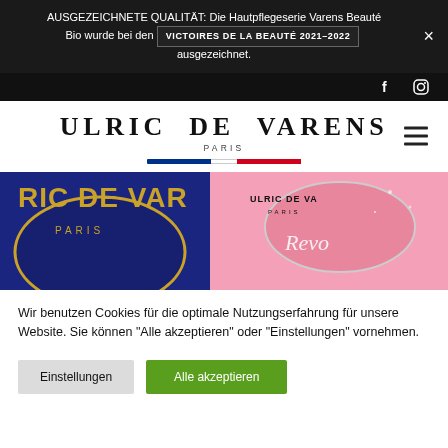AUSGEZEICHNETE QUALITÄT: Die Hautpflegeserie Varens Beauté Bio wurde bei den VICTOIRES DE LA BEAUTÉ 2021–2022 ausgezeichnet.
[Figure (screenshot): Social media navigation bar with Facebook and Instagram icons on dark background]
[Figure (logo): Ulric de Varens Paris logo with French tricolor flag bar and hamburger menu icon]
[Figure (photo): Hero product image showing blue and pink Ulric de Varens perfume bottles with 'Revo' text visible on the pink bottle]
Wir benutzen Cookies für die optimale Nutzungserfahrung für unsere Website. Sie können "Alle akzeptieren" oder "Einstellungen" vornehmen.